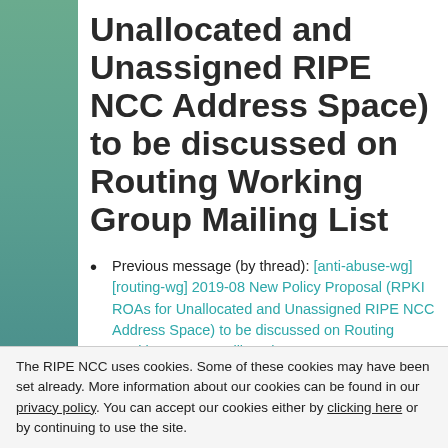Unallocated and Unassigned RIPE NCC Address Space) to be discussed on Routing Working Group Mailing List
Previous message (by thread): [anti-abuse-wg] [routing-wg] 2019-08 New Policy Proposal (RPKI ROAs for Unallocated and Unassigned RIPE NCC Address Space) to be discussed on Routing Working Group Mailing List
Next message (by thread): [anti-abuse-wg]
The RIPE NCC uses cookies. Some of these cookies may have been set already. More information about our cookies can be found in our privacy policy. You can accept our cookies either by clicking here or by continuing to use the site.